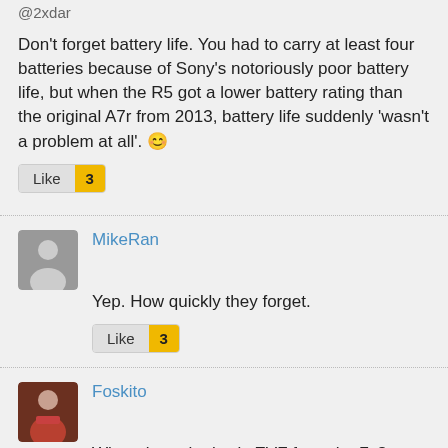@2xdar
Don't forget battery life. You had to carry at least four batteries because of Sony's notoriously poor battery life, but when the R5 got a lower battery rating than the original A7r from 2013, battery life suddenly 'wasn't a problem at all'. 😊
Like 3
MikeRan
Yep. How quickly they forget.
Like 3
Foskito
What about the lowly EVF from the 7c?
Sony crowd quickly forget that they criticized cameras from the competition for having 3.6mp EVFs, and suddenly a 2.3mp res was "more